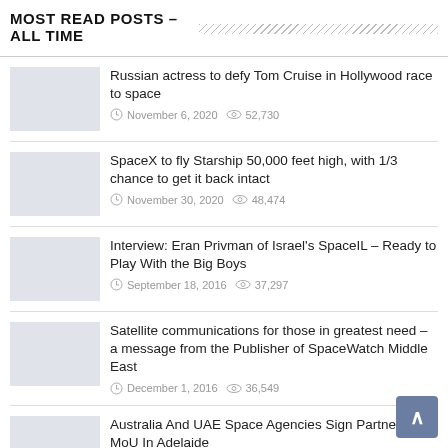MOST READ POSTS – ALL TIME
Russian actress to defy Tom Cruise in Hollywood race to space
November 6, 2020  52,730
SpaceX to fly Starship 50,000 feet high, with 1/3 chance to get it back intact
November 30, 2020  48,474
Interview: Eran Privman of Israel's SpaceIL – Ready to Play With the Big Boys
September 18, 2016  37,297
Satellite communications for those in greatest need – a message from the Publisher of SpaceWatch Middle East
December 1, 2016  36,549
Australia And UAE Space Agencies Sign Partnership MoU In Adelaide
February 15, 2019  28,730